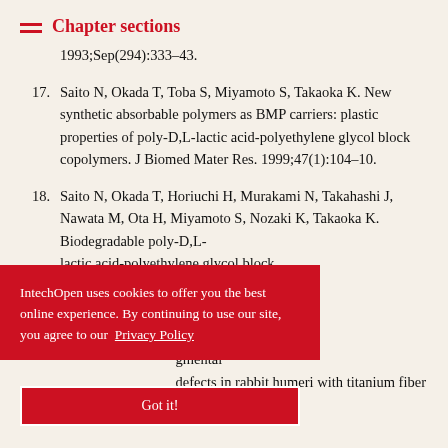Chapter sections
1993;Sep(294):333–43.
17. Saito N, Okada T, Toba S, Miyamoto S, Takaoka K. New synthetic absorbable polymers as BMP carriers: plastic properties of poly-D,L-lactic acid-polyethylene glycol block copolymers. J Biomed Mater Res. 1999;47(1):104–10.
18. Saito N, Okada T, Horiuchi H, Murakami N, Takahashi J, Nawata M, Ota H, Miyamoto S, Nozaki K, Takaoka K. Biodegradable poly-D,L-lactic acid-polyethylene glycol block ... m for ... m. 2001;83-A
IntechOpen uses cookies to offer you the best online experience. By continuing to use our site, you agree to our Privacy Policy
Got it!
Okada T, gmental defects in rabbit humeri with titanium fiber...